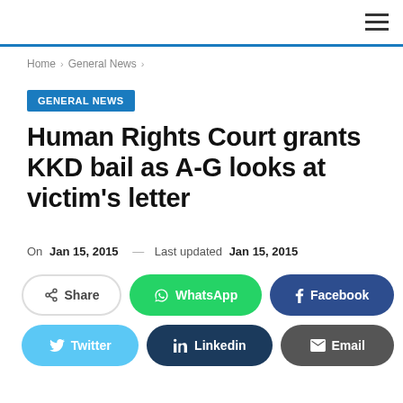General News
Home > General News >
GENERAL NEWS
Human Rights Court grants KKD bail as A-G looks at victim's letter
On Jan 15, 2015 — Last updated Jan 15, 2015
[Figure (other): Social sharing buttons: Share, WhatsApp, Facebook, Twitter, Linkedin, Email]